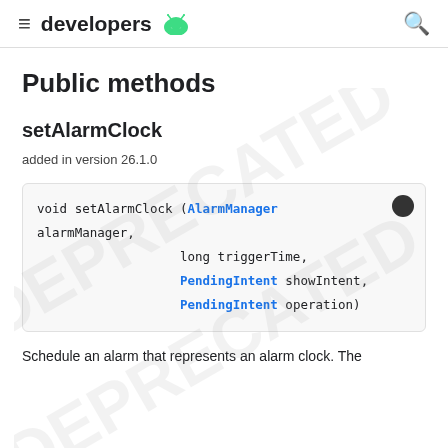developers
Public methods
setAlarmClock
added in version 26.1.0
[Figure (screenshot): Code block showing: void setAlarmClock (AlarmManager alarmManager, long triggerTime, PendingIntent showIntent, PendingIntent operation)]
Schedule an alarm that represents an alarm clock. The